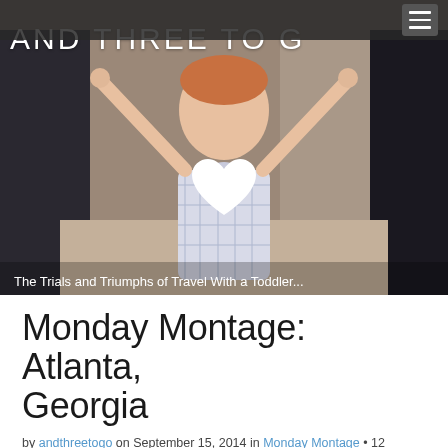[Figure (photo): Blog header hero image showing a smiling toddler girl in a plaid dress with arms raised, held by two adults on either side, outdoors. Overlaid with the blog name 'AND THREE TO G' in white handwritten-style text, a white heart icon, and the tagline 'The Trials and Triumphs of Travel With a Toddler...']
Monday Montage: Atlanta, Georgia
by andthreetogo on September 15, 2014 in Monday Montage • 12